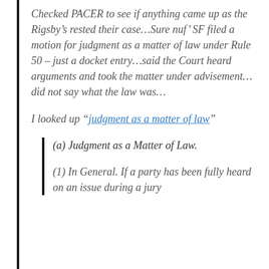Checked PACER to see if anything came up as the Rigsby’s rested their case…Sure nuf’ SF filed a motion for judgment as a matter of law under Rule 50 – just a docket entry…said the Court heard arguments and took the matter under advisement…did not say what the law was…
I looked up “judgment as a matter of law”
(a) Judgment as a Matter of Law.
(1) In General. If a party has been fully heard on an issue during a jury